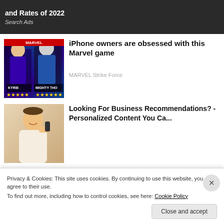and Rates of 2022
Search Ads
[Figure (photo): Marvel Strike Force game ad thumbnail showing two characters: KYRIE and MIGHTY THOR with star ratings]
iPhone owners are obsessed with this Marvel game
MARVEL Strike Force
[Figure (photo): Business recommendation ad thumbnail showing a man on a phone call smiling]
Looking For Business Recommendations? - Personalized Content You Ca...
Privacy & Cookies: This site uses cookies. By continuing to use this website, you agree to their use.
To find out more, including how to control cookies, see here: Cookie Policy
Close and accept